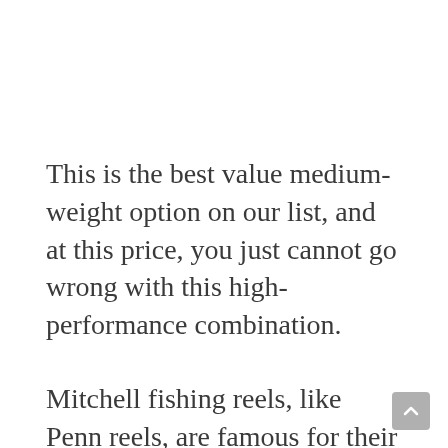This is the best value medium-weight option on our list, and at this price, you just cannot go wrong with this high-performance combination.
Mitchell fishing reels, like Penn reels, are famous for their strength and durability, which is just what you need to withstand the rigors of saltwater fishing. This model has eight ball bearings and an anti-reverse